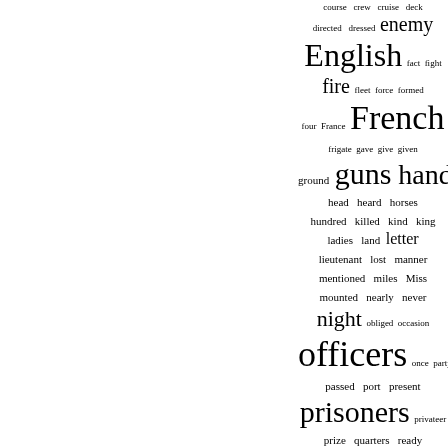[Figure (other): Word cloud with naval/military historical terms in varying font sizes, all in blue. Larger words include 'officers', 'prisoners', 'French', 'English', 'guns', 'hands', 'night', 'letter', 'enemy'. Smaller words include course, crew, cruise, deck, directed, dressed, fact, fight, fire, fleet, force, formed, four, France, frigate, gave, give, given, ground, head, heard, horses, hundred, killed, kind, king, ladies, land, lieutenant, lost, manner, mentioned, miles, Miss, mounted, nearly, never, obliged, occasion, once, party, passed, port, present, privateer, prize, quarters, ready.]